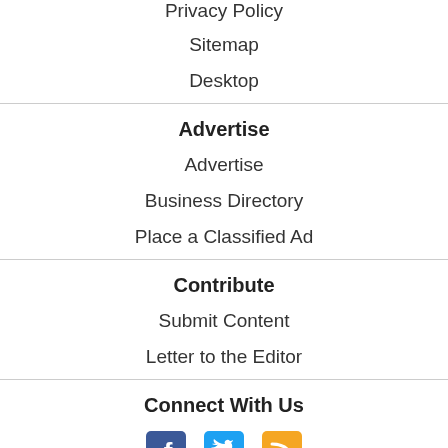Privacy Policy
Sitemap
Desktop
Advertise
Advertise
Business Directory
Place a Classified Ad
Contribute
Submit Content
Letter to the Editor
Connect With Us
[Figure (infographic): Social media icons: Facebook, Twitter, RSS feed]